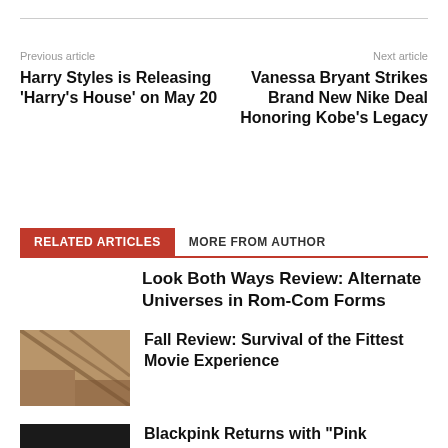Previous article
Next article
Harry Styles is Releasing ‘Harry’s House’ on May 20
Vanessa Bryant Strikes Brand New Nike Deal Honoring Kobe’s Legacy
RELATED ARTICLES | MORE FROM AUTHOR
Look Both Ways Review: Alternate Universes in Rom-Com Forms
[Figure (photo): Thumbnail image for Fall Review article — aerial or overhead photo of terrain with dark geometric lines]
Fall Review: Survival of the Fittest Movie Experience
[Figure (photo): Pink Venom thumbnail — dark background with PINK VENOM text]
Blackpink Returns with “Pink Venom”: